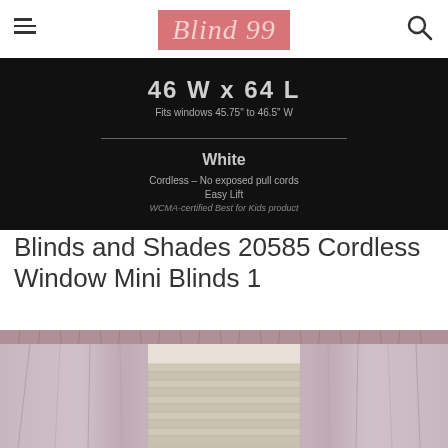Blind 99
[Figure (photo): Product box label showing '46 W x 64 L, Fits windows 45.75" to 46.5" W, White, Cordless – No exposed pull cords, Easy Lift, WCMA-certified Best for Kids product' on a dark background]
Blinds and Shades 20585 Cordless Window Mini Blinds 1
[Figure (photo): Mauve/pink curtains hanging on a rod over horizontal mini blinds, parted in the center to show the blinds behind]